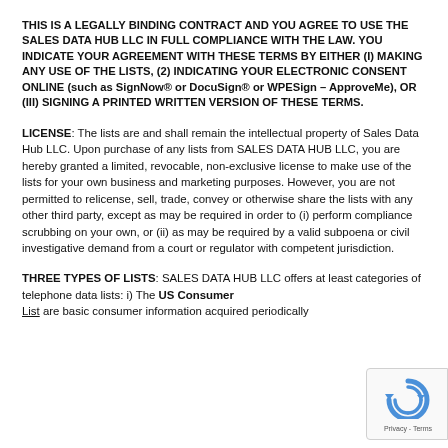THIS IS A LEGALLY BINDING CONTRACT AND YOU AGREE TO USE THE SALES DATA HUB LLC IN FULL COMPLIANCE WITH THE LAW. YOU INDICATE YOUR AGREEMENT WITH THESE TERMS BY EITHER (I) MAKING ANY USE OF THE LISTS, (2) INDICATING YOUR ELECTRONIC CONSENT ONLINE (such as SignNow® or DocuSign® or WPESign – ApproveMe), OR (III) SIGNING A PRINTED WRITTEN VERSION OF THESE TERMS.
LICENSE: The lists are and shall remain the intellectual property of Sales Data Hub LLC. Upon purchase of any lists from SALES DATA HUB LLC, you are hereby granted a limited, revocable, non-exclusive license to make use of the lists for your own business and marketing purposes. However, you are not permitted to relicense, sell, trade, convey or otherwise share the lists with any other third party, except as may be required in order to (i) perform compliance scrubbing on your own, or (ii) as may be required by a valid subpoena or civil investigative demand from a court or regulator with competent jurisdiction.
THREE TYPES OF LISTS: SALES DATA HUB LLC offers at least categories of telephone data lists: i) The US Consumer List are basic consumer information acquired periodically